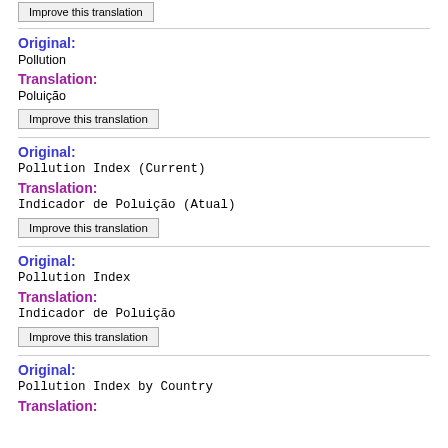[Improve this translation button - top]
Original:
Pollution
Translation:
Poluição
Improve this translation
Original:
Pollution Index (Current)
Translation:
Indicador de Poluição (Atual)
Improve this translation
Original:
Pollution Index
Translation:
Indicador de Poluição
Improve this translation
Original:
Pollution Index by Country
Translation: